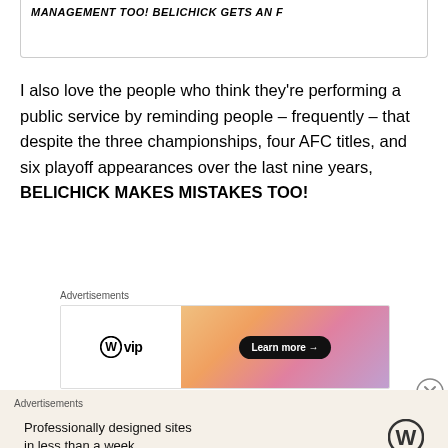MANAGEMENT TOO! BELICHICK GETS AN F
I also love the people who think they’re performing a public service by reminding people – frequently – that despite the three championships, four AFC titles, and six playoff appearances over the last nine years, BELICHICK MAKES MISTAKES TOO!
[Figure (screenshot): WordPress VIP advertisement banner with gradient background and 'Learn more' button]
[Figure (screenshot): WordPress advertisement on beige background: 'Professionally designed sites in less than a week' with WordPress logo]